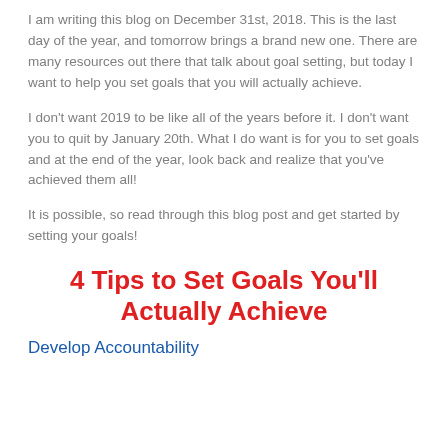I am writing this blog on December 31st, 2018. This is the last day of the year, and tomorrow brings a brand new one. There are many resources out there that talk about goal setting, but today I want to help you set goals that you will actually achieve.
I don't want 2019 to be like all of the years before it. I don't want you to quit by January 20th. What I do want is for you to set goals and at the end of the year, look back and realize that you've achieved them all!
It is possible, so read through this blog post and get started by setting your goals!
4 Tips to Set Goals You'll Actually Achieve
Develop Accountability